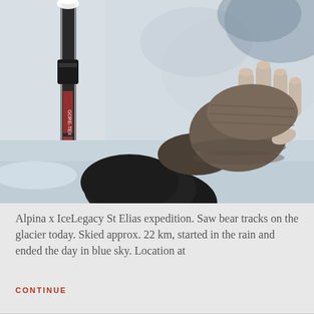[Figure (photo): A person wearing a fingerless knit glove reaching out toward a snowy surface, with ski poles visible on the left side against snow. The scene is overcast and wintry.]
Alpina x IceLegacy St Elias expedition. Saw bear tracks on the glacier today. Skied approx. 22 km, started in the rain and ended the day in blue sky. Location at
CONTINUE